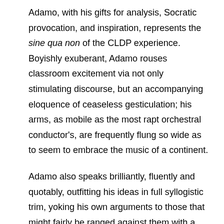Adamo, with his gifts for analysis, Socratic provocation, and inspiration, represents the sine qua non of the CLDP experience. Boyishly exuberant, Adamo rouses classroom excitement via not only stimulating discourse, but an accompanying eloquence of ceaseless gesticulation; his arms, as mobile as the most rapt orchestral conductor's, are frequently flung so wide as to seem to embrace the music of a continent.
Adamo also speaks brilliantly, fluently and quotably, outfitting his ideas in full syllogistic trim, yoking his own arguments to those that might fairly be ranged against them with a consistently even and keen Boolean precision.
“Let a thousand flowers bloom!” Adamo exclaims of the energy, variety and fecundity of the opera landscape today.